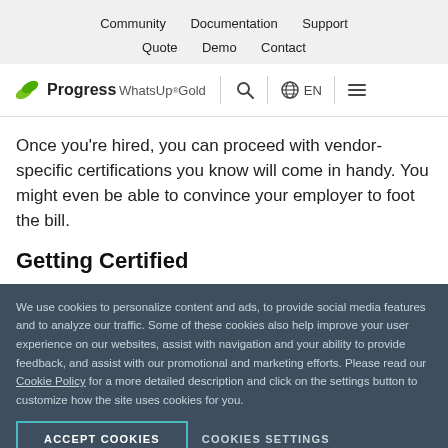Community   Documentation   Support
Quote   Demo   Contact
[Figure (logo): Progress WhatsUp Gold logo with search, language (EN), and menu icons]
Once you're hired, you can proceed with vendor-specific certifications you know will come in handy. You might even be able to convince your employer to foot the bill.
Getting Certified
We use cookies to personalize content and ads, to provide social media features and to analyze our traffic. Some of these cookies also help improve your user experience on our websites, assist with navigation and your ability to provide feedback, and assist with our promotional and marketing efforts. Please read our Cookie Policy for a more detailed description and click on the settings button to customize how the site uses cookies for you.
ACCEPT COOKIES   COOKIES SETTINGS